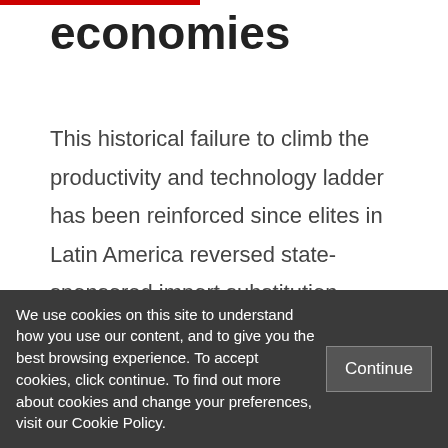economies
This historical failure to climb the productivity and technology ladder has been reinforced since elites in Latin America reversed state-sponsored import substitution industrialisation and started to fundamentally reorganise the institutional configuration of their political economies. The 1980s and 1990s saw an outbreak of
We use cookies on this site to understand how you use our content, and to give you the best browsing experience. To accept cookies, click continue. To find out more about cookies and change your preferences, visit our Cookie Policy.